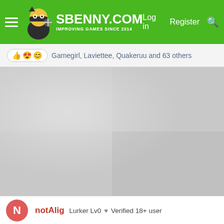SBENNY.COM — IMPROVING GAMES SINCE 2014 | Log in | Register
Gamegirl, Laviettee, Quakeruu and 63 others
[Figure (photo): Blurred or partially loaded image content area with light gray background]
notAlig  Lurker Lv0  Verified 18+ user